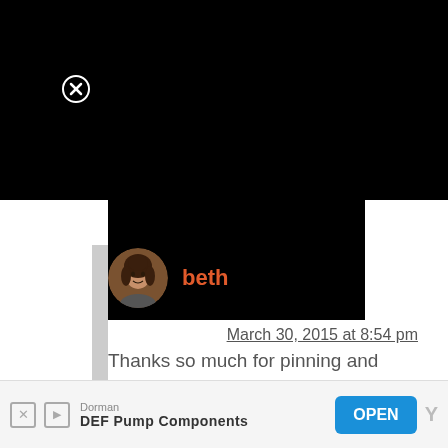[Figure (screenshot): Black background area at top of screen (UI overlay/modal background)]
[Figure (screenshot): Circle X close button (white outline X on black background)]
[Figure (photo): Circular avatar photo of a woman with curly dark hair]
beth
March 30, 2015 at 8:54 pm
Thanks so much for pinning and sharing, Alexandra:)
Dorman
DEF Pump Components
OPEN